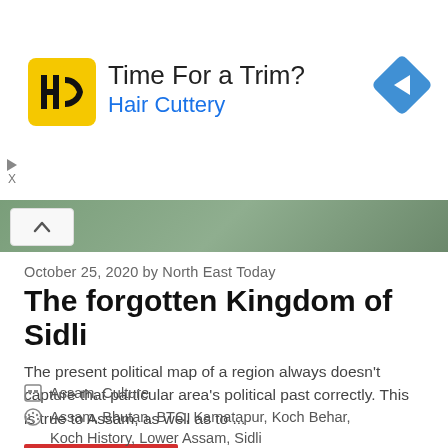[Figure (screenshot): Advertisement banner for Hair Cuttery. Shows HC logo in yellow square, text 'Time For a Trim?' and 'Hair Cuttery' in blue, with a blue diamond navigation arrow on the right. Small play and X icons on the left side.]
[Figure (photo): Partial green landscape/nature image strip at the top of the article area, with a white chevron-up button overlay on the left.]
October 25, 2020 by North East Today
The forgotten Kingdom of Sidli
The present political map of a region always doesn't capture that particular area's political past correctly. This is true to Assam, as well as to ...
READ MORE
Assam, Culture
Assam, Bhutan, BTC, Kamatapur, Koch Behar,
Koch History, Lower Assam, Sidli